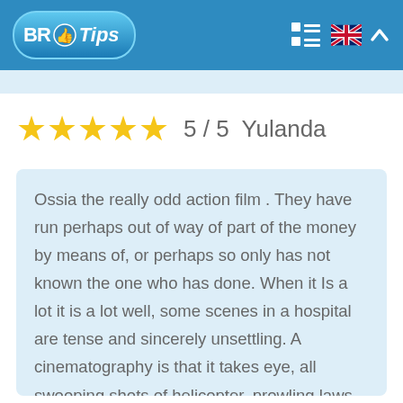[Figure (logo): BR Tips logo with blue rounded rectangle background, thumb icon, italic Tips text]
5 / 5   Yulanda
Ossia the really odd action film . They have run perhaps out of way of part of the money by means of, or perhaps so only has not known the one who has done. When it Is a lot it is a lot well, some scenes in a hospital are tense and sincerely unsettling. A cinematography is that it takes eye, all swooping shots of helicopter, prowling laws partorisca film that thumbs of careers on a tarmac. There is good use of the course down but